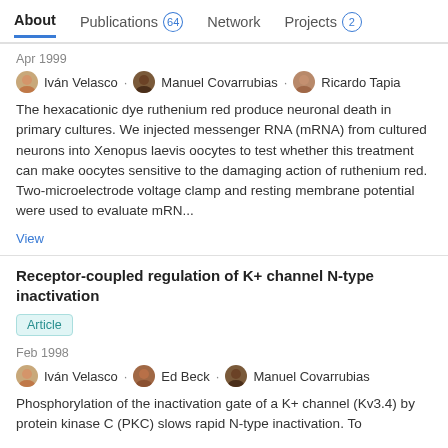About  Publications 64  Network  Projects 2
Apr 1999
Iván Velasco · Manuel Covarrubias · Ricardo Tapia
The hexacationic dye ruthenium red produce neuronal death in primary cultures. We injected messenger RNA (mRNA) from cultured neurons into Xenopus laevis oocytes to test whether this treatment can make oocytes sensitive to the damaging action of ruthenium red. Two-microelectrode voltage clamp and resting membrane potential were used to evaluate mRN...
View
Receptor-coupled regulation of K+ channel N-type inactivation
Article
Feb 1998
Iván Velasco · Ed Beck · Manuel Covarrubias
Phosphorylation of the inactivation gate of a K+ channel (Kv3.4) by protein kinase C (PKC) slows rapid N-type inactivation. To